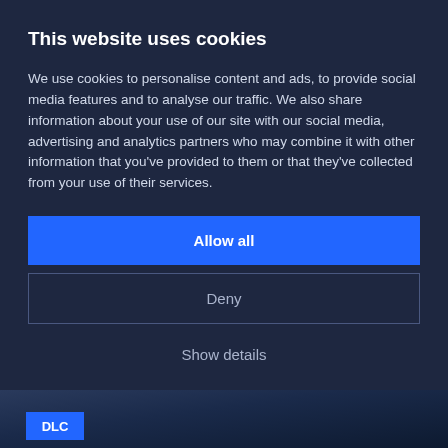This website uses cookies
We use cookies to personalise content and ads, to provide social media features and to analyse our traffic. We also share information about your use of our site with our social media, advertising and analytics partners who may combine it with other information that you've provided to them or that they've collected from your use of their services.
Allow all
Deny
Show details
[Figure (screenshot): Bottom strip showing a DLC badge (blue rectangle with white text 'DLC') over a dark game screenshot background]